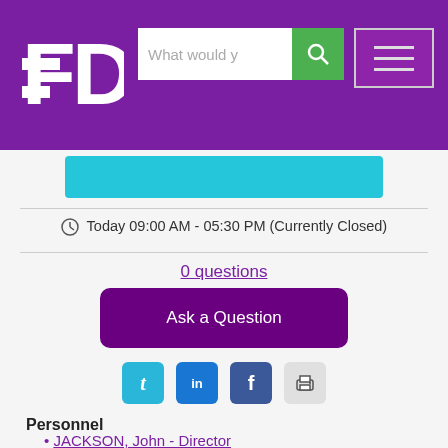[Figure (screenshot): Purple navigation header bar with FD logo, search box with green search button, and hamburger menu icon]
[Figure (screenshot): Teal/cyan button partially visible]
Today 09:00 AM - 05:30 PM (Currently Closed)
0 questions
Ask a Question
[Figure (screenshot): Social media icons: Twitter (t), LinkedIn (in), Facebook (f), and print icon]
Personnel
JACKSON, John - Director